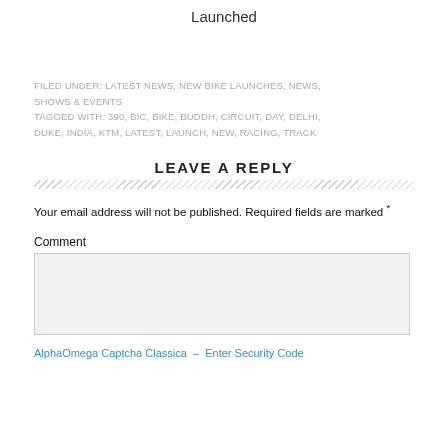Launched
FILED UNDER: LATEST NEWS, NEW BIKE LAUNCHES, NEWS, SHOWS & EVENTS
TAGGED WITH: 390, BIC, BIKE, BUDDH, CIRCUIT, DAY, DELHI, DUKE, INDIA, KTM, LATEST, LAUNCH, NEW, RACING, TRACK
LEAVE A REPLY
Your email address will not be published. Required fields are marked *
Comment
AlphaOmega Captcha Classica – Enter Security Code